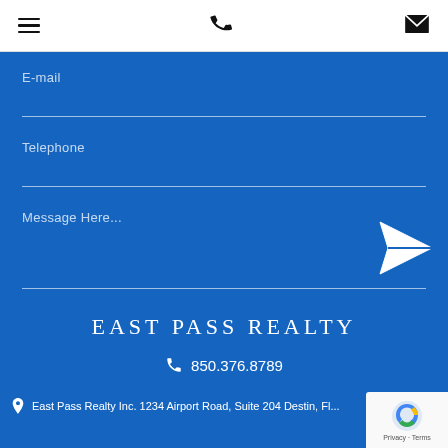Navigation bar with hamburger menu, phone icon, and envelope icon
E-mail
Telephone
Message Here...
EAST PASS REALTY
850.376.8789
East Pass Realty Inc. 1234 Airport Road, Suite 204 Destin, FL